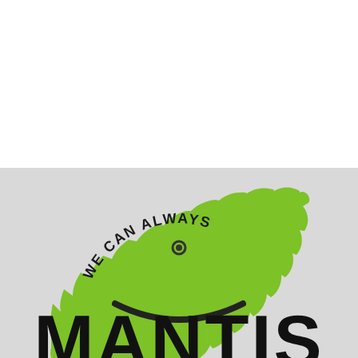[Figure (logo): Mantis logo featuring a green bicycle gear/sprocket (top half visible) with the text 'WE CAN ALWAYS' curved along the inside of the gear, and large bold black text 'MANTIS' partially visible at the bottom, on a light gray background.]